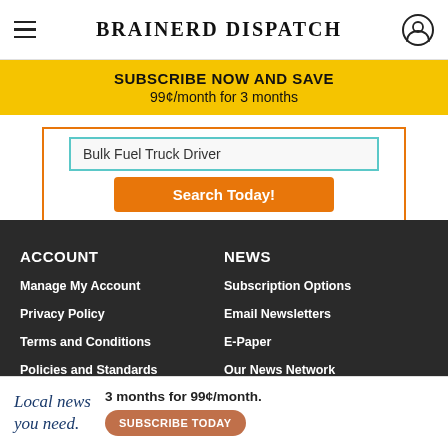BRAINERD DISPATCH
SUBSCRIBE NOW AND SAVE
99¢/month for 3 months
[Figure (screenshot): Job search widget showing a text input with 'Bulk Fuel Truck Driver' and an orange 'Search Today!' button, framed with orange and teal border]
ACCOUNT
Manage My Account
Privacy Policy
Terms and Conditions
Policies and Standards
NEWS
Subscription Options
Email Newsletters
E-Paper
Our News Network
CONTACT
MORE
Get Hel...
...HQ
[Figure (infographic): Bottom ad banner: 'Local news you need.' with '3 months for 99¢/month.' and 'SUBSCRIBE TODAY' button]